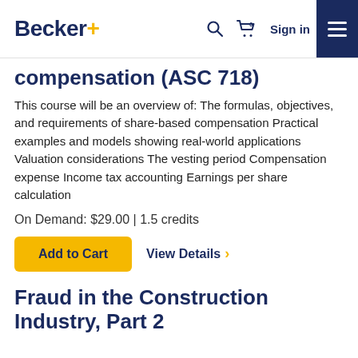Becker+ [Search] [Cart 0] Sign in [Menu]
compensation (ASC 718)
This course will be an overview of: The formulas, objectives, and requirements of share-based compensation Practical examples and models showing real-world applications Valuation considerations The vesting period Compensation expense Income tax accounting Earnings per share calculation
On Demand: $29.00 | 1.5 credits
Add to Cart   View Details >
Fraud in the Construction Industry, Part 2